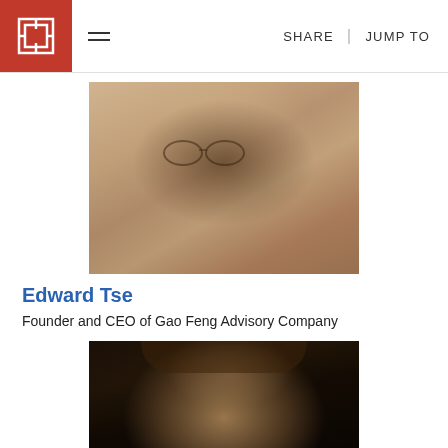SHARE | JUMP TO
[Figure (photo): Sepia-toned portrait photo of Edward Tse, a middle-aged Asian man wearing glasses and a striped shirt]
Edward Tse
Founder and CEO of Gao Feng Advisory Company
[Figure (photo): Color portrait photo of a second person, a man with brown hair against a dark background]